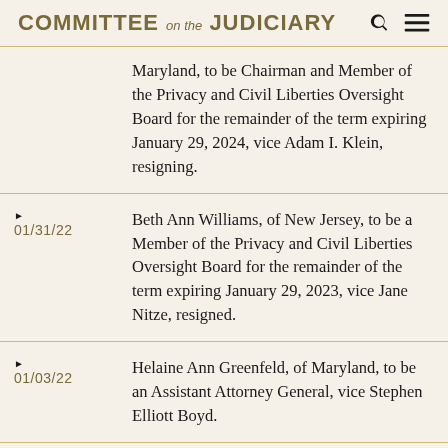COMMITTEE on the JUDICIARY
Maryland, to be Chairman and Member of the Privacy and Civil Liberties Oversight Board for the remainder of the term expiring January 29, 2024, vice Adam I. Klein, resigning.
01/31/22 — Beth Ann Williams, of New Jersey, to be a Member of the Privacy and Civil Liberties Oversight Board for the remainder of the term expiring January 29, 2023, vice Jane Nitze, resigned.
01/03/22 — Helaine Ann Greenfeld, of Maryland, to be an Assistant Attorney General, vice Stephen Elliott Boyd.